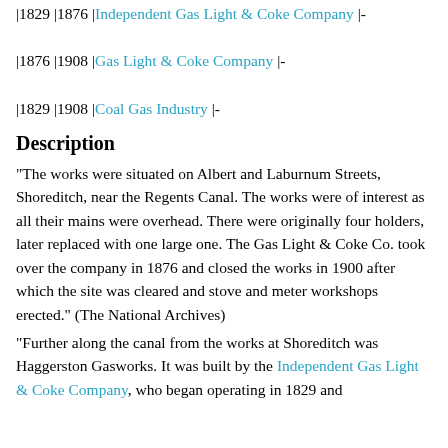|1829 |1876 |Independent Gas Light & Coke Company |-
|1876 |1908 |Gas Light & Coke Company |-
|1829 |1908 |Coal Gas Industry |-
Description
"The works were situated on Albert and Laburnum Streets, Shoreditch, near the Regents Canal. The works were of interest as all their mains were overhead. There were originally four holders, later replaced with one large one. The Gas Light & Coke Co. took over the company in 1876 and closed the works in 1900 after which the site was cleared and stove and meter workshops erected." (The National Archives)
"Further along the canal from the works at Shoreditch was Haggerston Gasworks. It was built by the Independent Gas Light & Coke Company, who began operating in 1829 and